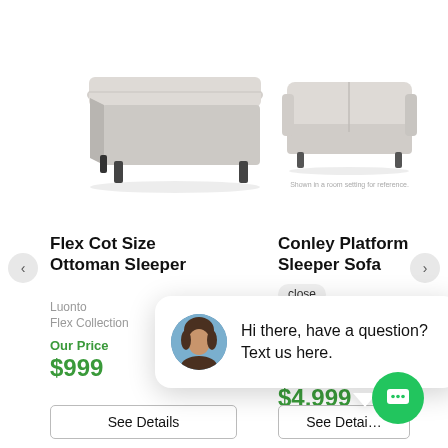[Figure (photo): Gray fabric ottoman/storage bench with short dark legs, viewed at angle]
[Figure (photo): Light gray platform sleeper sofa with two cushions and dark legs]
Flex Cot Size Ottoman Sleeper
Conley Platform Sleeper Sofa
Luonto
Flex Collection
Our Price
$999
$4,999
See Details
See Details
Hi there, have a question? Text us here.
close